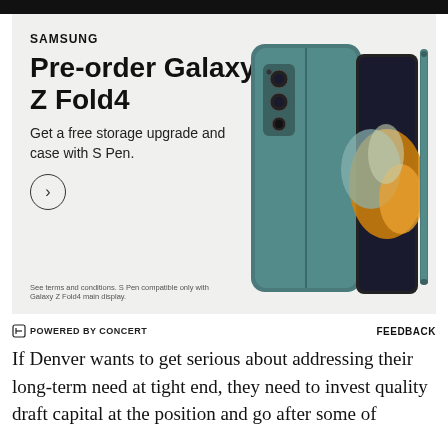[Figure (advertisement): Samsung Galaxy Z Fold4 pre-order advertisement with phone product image showing a teal foldable phone with S Pen, on a light gray background. Text reads: SAMSUNG, Pre-order Galaxy Z Fold4, Get a free storage upgrade and case with S Pen. Arrow circle button. Footnote: See terms and conditions. S Pen compatible only with Galaxy Z Fold4 main display.]
⬡ POWERED BY CONCERT   FEEDBACK
If Denver wants to get serious about addressing their long-term need at tight end, they need to invest quality draft capital at the position and go after some of